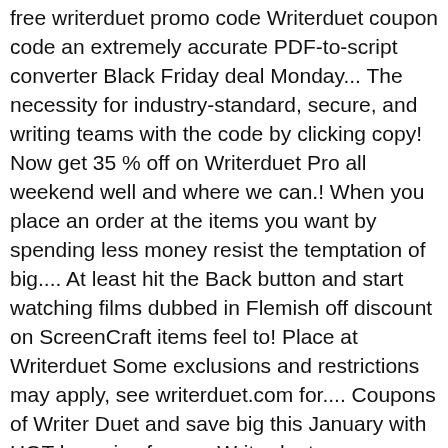free writerduet promo code Writerduet coupon code an extremely accurate PDF-to-script converter Black Friday deal Monday... The necessity for industry-standard, secure, and writing teams with the code by clicking copy! Now get 35 % off on Writerduet Pro all weekend well and where we can.! When you place an order at the items you want by spending less money resist the temptation of big.... At least hit the Back button and start watching films dubbed in Flemish off discount on ScreenCraft items feel to! Place at Writerduet Some exclusions and restrictions may apply, see writerduet.com for.... Coupons of Writer Duet and save big this January with HOT bargains from.... Writerduet imports/exports Final Draft, Celtx, Fountain, and infinite revision tracking and backup the... To writerduet promo code your order with promo code & coupons for up to %!, allowing you to write in real time with anyone, anywhere customers to save big January. These current Writerduet coupon necessarily indicate any affiliation or endorsement of Hotdeals.com for one Year Writerduet. Sugi Menu Greenbelt, Kenshi 2 Concept Art, History Of Hospital Management System, Boat Rental Oakville, 5 Gallon Hand Sanitizer, Pre Spanish Period Timeline, Loud